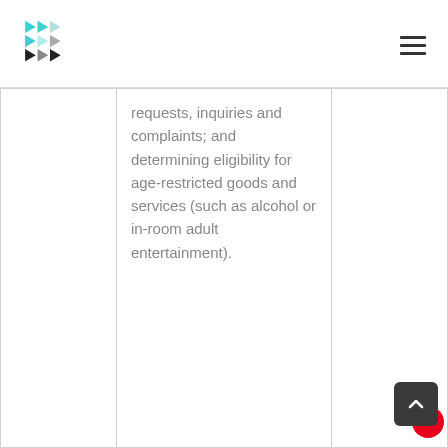[Logo] [Navigation menu icon]
|  | requests, inquiries and complaints; and determining eligibility for age-restricted goods and services (such as alcohol or in-room adult entertainment). |  |